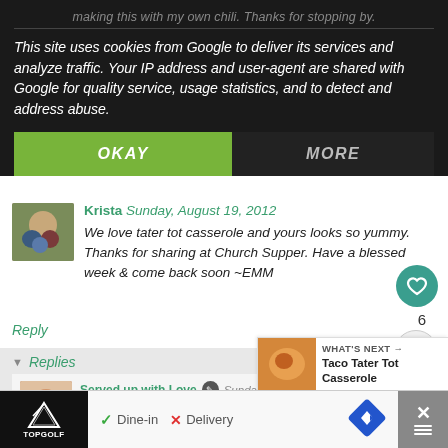making this with my own chili. Thanks for stopping by.
This site uses cookies from Google to deliver its services and analyze traffic. Your IP address and user-agent are shared with Google for quality service, usage statistics, and to detect and address abuse.
OKAY
MORE
Krista  Sunday, August 19, 2012
We love tater tot casserole and yours looks so yummy. Thanks for sharing at Church Supper. Have a blessed week & come back soon ~EMM
Reply
6
Replies
Served up with Love  Sunday, August 19, 2012
Thanks Krista, I hope you get to try  enjoys it!
WHAT'S NEXT → Taco Tater Tot Casserole
Dine-in  Delivery